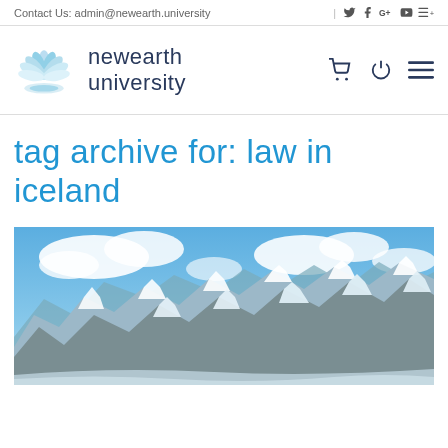Contact Us: admin@newearth.university
[Figure (logo): Newearth University logo with blue lotus/flower SVG icon and text 'newearth university']
tag archive for: law in iceland
[Figure (photo): Aerial photograph of snow-capped mountains in Iceland with blue sky and clouds]